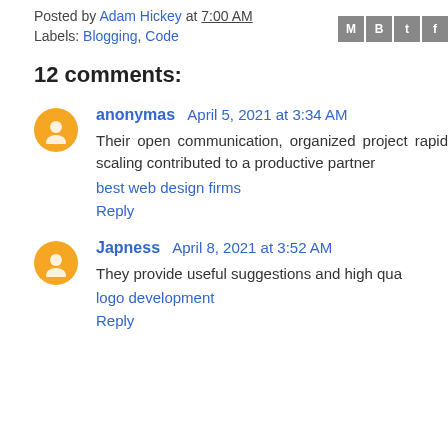Posted by Adam Hickey at 7:00 AM
Labels: Blogging, Code
12 comments:
anonymas April 5, 2021 at 3:34 AM
Their open communication, organized proje... rapid scaling contributed to a productive partne...
best web design firms
Reply
Japness April 8, 2021 at 3:52 AM
They provide useful suggestions and high qua...
logo development
Reply